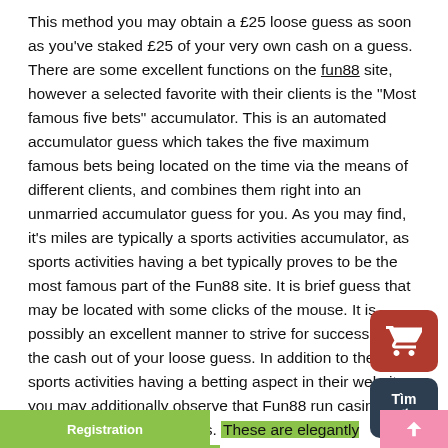This method you may obtain a £25 loose guess as soon as you've staked £25 of your very own cash on a guess. There are some excellent functions on the fun88 site, however a selected favorite with their clients is the "Most famous five bets" accumulator. This is an automated accumulator guess which takes the five maximum famous bets being located on the time via the means of different clients, and combines them right into an unmarried accumulator guess for you. As you may find, it's miles are typically a sports activities accumulator, as sports activities having a bet typically proves to be the most famous part of the Fun88 site. It is brief guess that may be located with some clicks of the mouse. It is possibly an excellent manner to strive for success with the cash out of your loose guess. In addition to the sports activities having a betting aspect in their website, you may additionally observe that Fun88 run casino, bingo and gaming sections. These are elegantly designed and fun to play in, betting for a flutter in case you are feeling lucky.